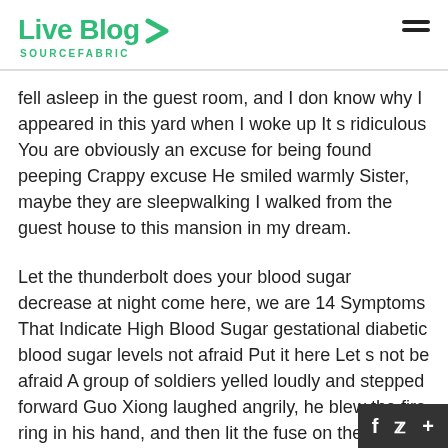Live Blog SOURCEFABRIC
fell asleep in the guest room, and I don know why I appeared in this yard when I woke up It s ridiculous You are obviously an excuse for being found peeping Crappy excuse He smiled warmly Sister, maybe they are sleepwalking I walked from the guest house to this mansion in my dream.
Let the thunderbolt does your blood sugar decrease at night come here, we are 14 Symptoms That Indicate High Blood Sugar gestational diabetic blood sugar levels not afraid Put it here Let s not be afraid A group of soldiers yelled loudly and stepped forward Guo Xiong laughed angrily, he blew the fire ring in his hand, and then lit the fuse on the thunderbolt.I m not afraid, right You 14 Symptoms That Indicate High Blood Sugar gestational diabetic blood sugar levels let the power of Thunderbolt A group of ignorant people